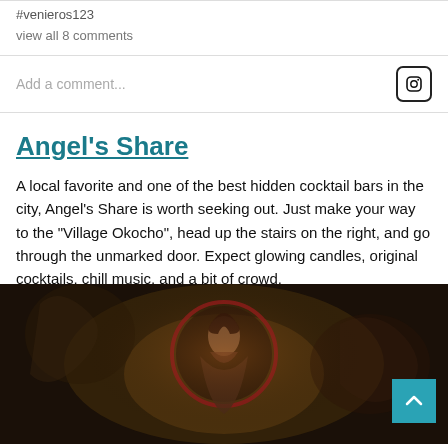#venieros123
view all 8 comments
Add a comment...
Angel's Share
A local favorite and one of the best hidden cocktail bars in the city, Angel's Share is worth seeking out. Just make your way to the "Village Okocho", head up the stairs on the right, and go through the unmarked door. Expect glowing candles, original cocktails, chill music, and a bit of crowd.
[Figure (photo): Dark mural painting of an angel figure bowing inside a red circular halo, with other angelic figures on either side, warm golden tones.]